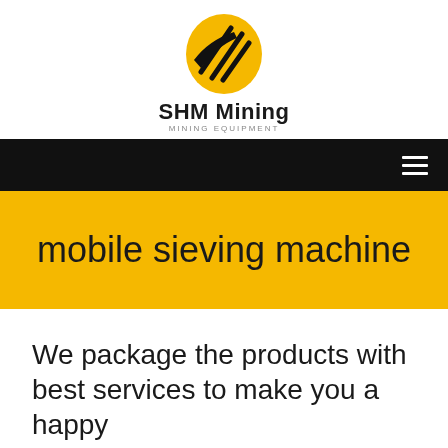[Figure (logo): SHM Mining logo: yellow oval with black diagonal stripes, company name 'SHM Mining' in bold black, subtitle 'MINING EQUIPMENT' in grey caps]
[Figure (other): Black navigation bar with hamburger menu icon (three white horizontal lines) on the right side]
mobile sieving machine
We package the products with best services to make you a happy